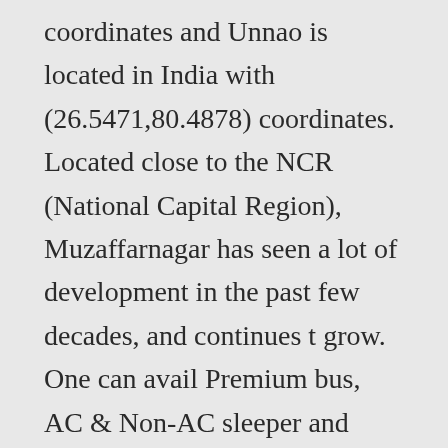coordinates and Unnao is located in India with (26.5471,80.4878) coordinates. Located close to the NCR (National Capital Region), Muzaffarnagar has seen a lot of development in the past few decades, and continues t grow. One can avail Premium bus, AC & Non-AC sleeper and seater buses from Muzaffarnagar. Rome2rio is a door-to-door travel information and booking engine, helping you get to and from any location in the world. The distance between Muzaffarnagar and Lucknow is 430 km. The route offering the shortest distance to a destination via the most accessible roads. Muzaffarnagar is located in India with (29.4739,77.7041) coordinates and Varanasi is located in India with (25.3167,83.0104)